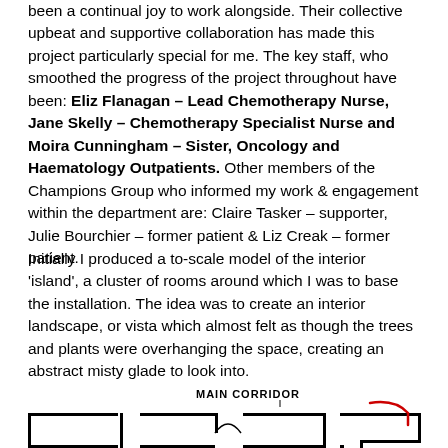been a continual joy to work alongside. Their collective upbeat and supportive collaboration has made this project particularly special for me. The key staff, who smoothed the progress of the project throughout have been: Eliz Flanagan – Lead Chemotherapy Nurse, Jane Skelly – Chemotherapy Specialist Nurse and Moira Cunningham – Sister, Oncology and Haematology Outpatients. Other members of the Champions Group who informed my work & engagement within the department are: Claire Tasker – supporter, Julie Bourchier – former patient & Liz Creak – former patient.
Initially I produced a to-scale model of the interior 'island', a cluster of rooms around which I was to base the installation. The idea was to create an interior landscape, or vista which almost felt as though the trees and plants were overhanging the space, creating an abstract misty glade to look into.
[Figure (engineering-diagram): Partial floor plan showing 'MAIN CORRIDOR' label with a red curved arrow/line overlaid on the architectural drawing of rooms.]